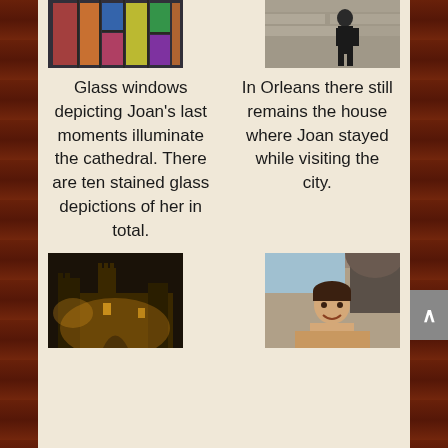[Figure (photo): Stained glass windows with colorful depictions, top-left]
[Figure (photo): Person standing in front of a stone building, top-right]
Glass windows depicting Joan's last moments illuminate the cathedral. There are ten stained glass depictions of her in total.
In Orleans there still remains the house where Joan stayed while visiting the city.
[Figure (photo): Castle or fortress illuminated at night, bottom-left]
[Figure (photo): Person smiling in front of old stone building, bottom-right]